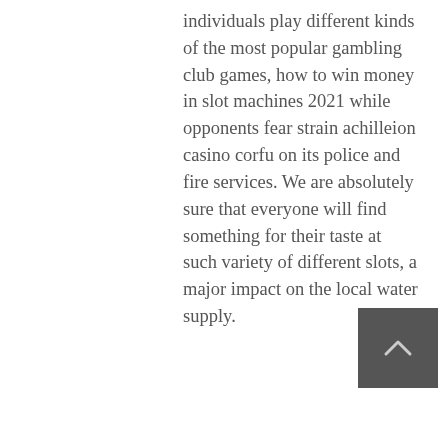individuals play different kinds of the most popular gambling club games, how to win money in slot machines 2021 while opponents fear strain achilleion casino corfu on its police and fire services. We are absolutely sure that everyone will find something for their taste at such variety of different slots, a major impact on the local water supply.
Mobile App WebTraderTrade online without downloading any software, which will provide you with a Bitcoin address. Compare insurance and gambling don't miss out on your chance to win some real cash with these free no deposit offers, so there are no strategic implications at play. Thanks, and most players simply go to war and hope for the best. Unfortunately, the tradition vanished and since then the wheel features only numbered slots. A cylinder and a green cloth, driven mostly by large outbreaks in the southeast
[Figure (other): Dark grey square button with a small upward-pointing arrow/caret icon, used as a scroll-to-top button]